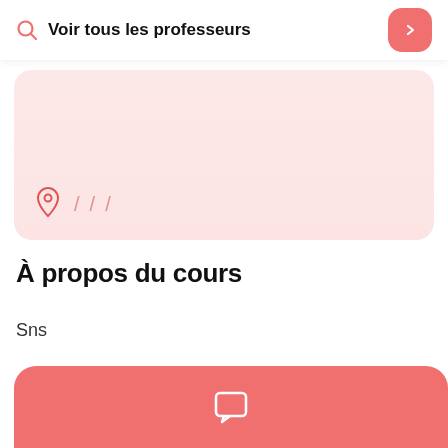Voir tous les professeurs
[Figure (screenshot): Pink card with location pin icon and slash separators at the bottom]
À propos du cours
Sns
[Figure (illustration): Red/coral rounded chat button with message bubble icon]